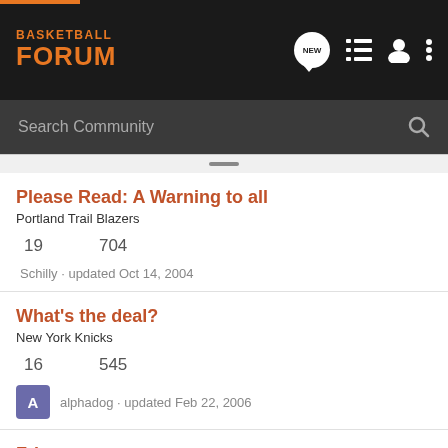BASKETBALL FORUM
Search Community
Please Read: A Warning to all
Portland Trail Blazers
19  704
Schilly · updated Oct 14, 2004
What's the deal?
New York Knicks
16  545
alphadog · updated Feb 22, 2006
Fri... d...